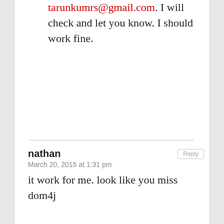tarunkumrs@gmail.com. I will check and let you know. I should work fine.
nathan
March 20, 2015 at 1:31 pm
it work for me. look like you miss dom4j
Tarun Singh
March 27, 2015 at 3:58 pm
Hi Nathan, Glad to